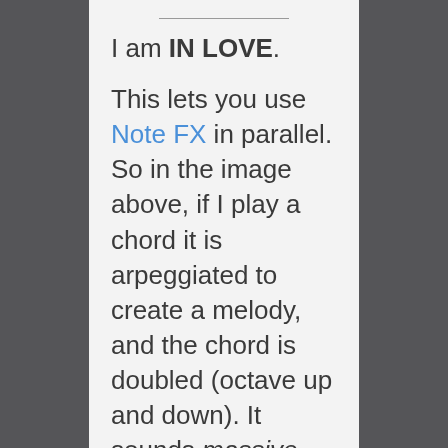I am IN LOVE.
This lets you use Note FX in parallel. So in the image above, if I play a chord it is arpeggiated to create a melody, and the chord is doubled (octave up and down). It sounds massive